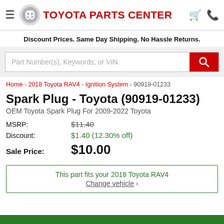TOYOTA PARTS CENTER
Discount Prices. Same Day Shipping. No Hassle Returns.
Part Number(s), Keywords, or VIN
Home > 2018 Toyota RAV4 > Ignition System > 90919-01233
Spark Plug - Toyota (90919-01233)
OEM Toyota Spark Plug For 2009-2022 Toyota
| MSRP: | $11.40 |
| Discount: | $1.40 (12.30% off) |
| Sale Price: | $10.00 |
This part fits your 2018 Toyota RAV4
Change vehicle >